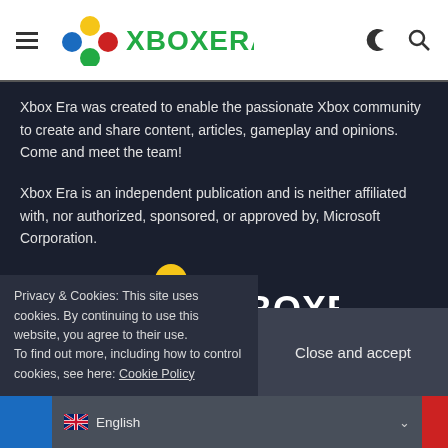[Figure (logo): XboxEra logo with colored circles (blue, red, yellow, green) and XBOXERA text in green, on white header bar with hamburger menu, crescent moon icon, and search icon]
Xbox Era was created to enable the passionate Xbox community to create and share content, articles, gameplay and opinions. Come and meet the team!
Xbox Era is an independent publication and is neither affiliated with, nor authorized, sponsored, or approved by, Microsoft Corporation.
[Figure (logo): XboxEra logo centered: colored circles (blue, red, yellow, green) and XBOXERA text in white on dark background]
Find us on MetaCritic & OpenCritic
Privacy & Cookies: This site uses cookies. By continuing to use this website, you agree to their use.
To find out more, including how to control cookies, see here: Cookie Policy
Close and accept